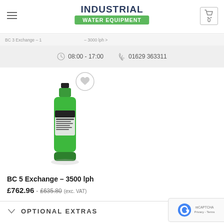INDUSTRIAL WATER EQUIPMENT
BC 3 Exchange – … – 3000 lph
08:00 - 17:00  01629 363311
[Figure (photo): Green cylindrical water softener/exchange cylinder product on white background]
BC 5 Exchange – 3500 lph
£762.96 - £635.80 (exc. VAT)
OPTIONAL EXTRAS